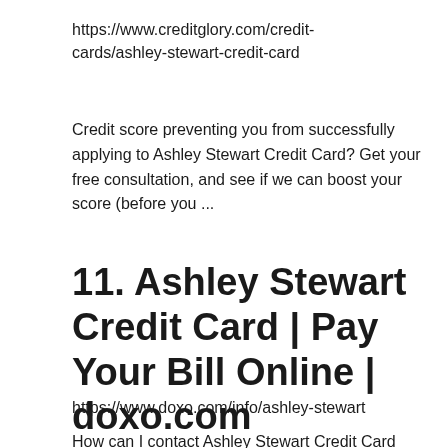https://www.creditglory.com/credit-cards/ashley-stewart-credit-card
Credit score preventing you from successfully applying to Ashley Stewart Credit Card? Get your free consultation, and see if we can boost your score (before you ...
11. Ashley Stewart Credit Card | Pay Your Bill Online | doxo.com
https://www.doxo.com/info/ashley-stewart
How can I contact Ashley Stewart Credit Card about my bill? Ask your billing questions directly by phone at 800-376-0581 or email...